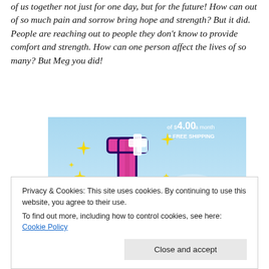of us together not just for one day, but for the future! How can out of so much pain and sorrow bring hope and strength? But it did. People are reaching out to people they don't know to provide comfort and strength. How can one person affect the lives of so many? But Meg you did!
[Figure (illustration): Advertisement banner showing a stylized pink and purple letter 't' logo with yellow sparkle stars on a light blue sky background. Text reads '$4.00 a month + FREE SHIPPING'.]
Privacy & Cookies: This site uses cookies. By continuing to use this website, you agree to their use. To find out more, including how to control cookies, see here: Cookie Policy